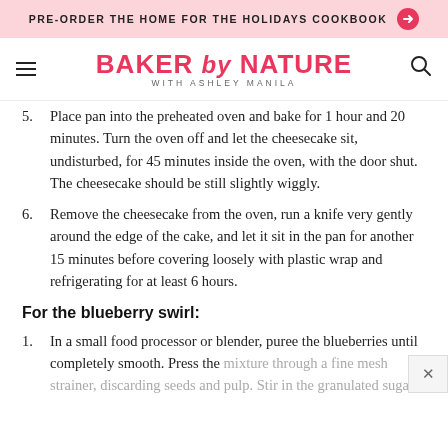PRE-ORDER THE HOME FOR THE HOLIDAYS COOKBOOK →
BAKER by NATURE WITH ASHLEY MANILA
5. Place pan into the preheated oven and bake for 1 hour and 20 minutes. Turn the oven off and let the cheesecake sit, undisturbed, for 45 minutes inside the oven, with the door shut. The cheesecake should be still slightly wiggly.
6. Remove the cheesecake from the oven, run a knife very gently around the edge of the cake, and let it sit in the pan for another 15 minutes before covering loosely with plastic wrap and refrigerating for at least 6 hours.
For the blueberry swirl:
1. In a small food processor or blender, puree the blueberries until completely smooth. Press the mixture through a fine mesh strainer, discarding seeds and pulp. Stir in the granulated sugar